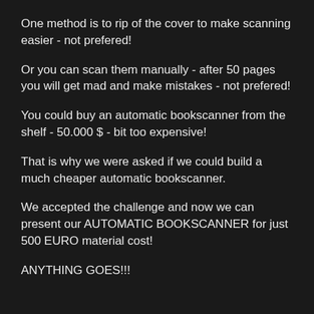One method is to rip of the cover to make scanning easier - not prefered!
Or you can scan them manually - after 50 pages you will get mad and make mistakes - not prefered!
You could buy an automatic bookscanner from the shelf - 50.000 $ - bit too expensive!
That is why we were asked if we could build a much cheaper automatic bookscanner.
We accepted the challenge and now we can present our AUTOMATIC BOOKSCANNER for just 500 EURO material cost!
ANYTHING GOES!!!